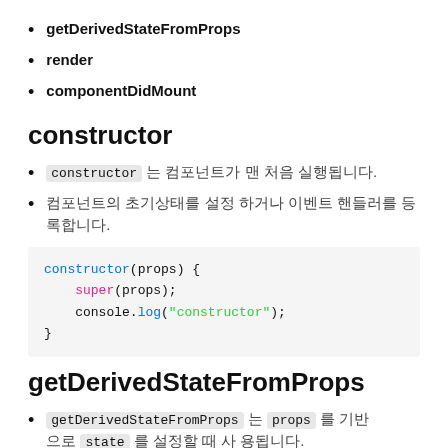getDerivedStateFromProps
render
componentDidMount
constructor
constructor [Korean text] 가장 먼저 실행됩니다.
[Korean text] 초기화하거나 이벤트 리스너를 등록합니다.
[Figure (screenshot): Code block showing constructor(props) { super(props); console.log("constructor"); }]
getDerivedStateFromProps
getDerivedStateFromProps 는 props 를 기반으로 state 를 설정할 때 사용됩니다.
[Korean text continuation]